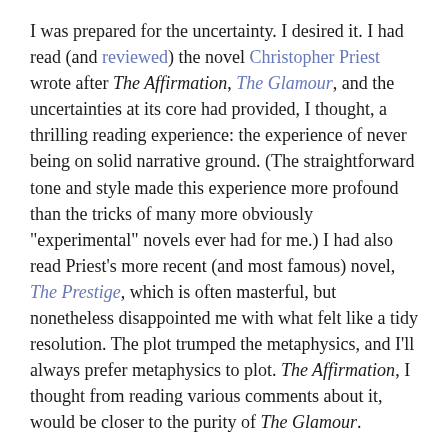I was prepared for the uncertainty. I desired it. I had read (and reviewed) the novel Christopher Priest wrote after The Affirmation, The Glamour, and the uncertainties at its core had provided, I thought, a thrilling reading experience: the experience of never being on solid narrative ground. (The straightforward tone and style made this experience more profound than the tricks of many more obviously "experimental" novels ever had for me.) I had also read Priest's more recent (and most famous) novel, The Prestige, which is often masterful, but nonetheless disappointed me with what felt like a tidy resolution. The plot trumped the metaphysics, and I'll always prefer metaphysics to plot. The Affirmation, I thought from reading various comments about it, would be closer to the purity of The Glamour.
The Affirmation, it turns out, is even more pure on a meta(-physical)(-fictional) level than The Glamour, and this time its thrills were more unsettling to me. Peter Sinclair, it turns out, is